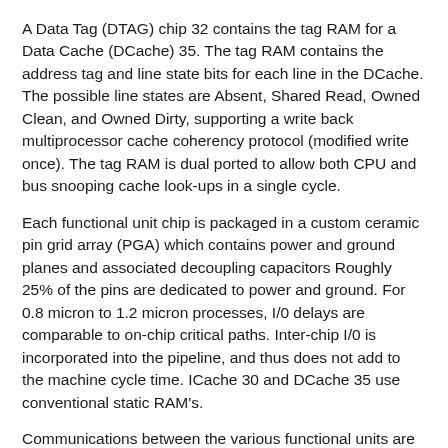A Data Tag (DTAG) chip 32 contains the tag RAM for a Data Cache (DCache) 35. The tag RAM contains the address tag and line state bits for each line in the DCache. The possible line states are Absent, Shared Read, Owned Clean, and Owned Dirty, supporting a write back multiprocessor cache coherency protocol (modified write once). The tag RAM is dual ported to allow both CPU and bus snooping cache look-ups in a single cycle.
Each functional unit chip is packaged in a custom ceramic pin grid array (PGA) which contains power and ground planes and associated decoupling capacitors Roughly 25% of the pins are dedicated to power and ground. For 0.8 micron to 1.2 micron processes, I/0 delays are comparable to on-chip critical paths. Inter-chip I/0 is incorporated into the pipeline, and thus does not add to the machine cycle time. ICache 30 and DCache 35 use conventional static RAM's.
Communications between the various functional units are carried out over a number of internal buses. (These include: a 64-bit IFETCH_ DATA bus for instruction fetches; a 96-bit P-OP bus for communicating issued p-ops to the